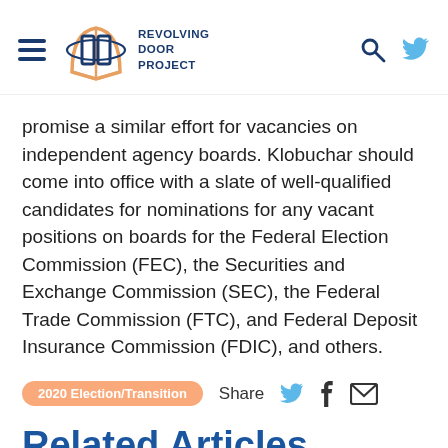Revolving Door Project
promise a similar effort for vacancies on independent agency boards. Klobuchar should come into office with a slate of well-qualified candidates for nominations for any vacant positions on boards for the Federal Election Commission (FEC), the Securities and Exchange Commission (SEC), the Federal Trade Commission (FTC), and Federal Deposit Insurance Commission (FDIC), and others.
2020 Election/Transition  Share
Related Articles